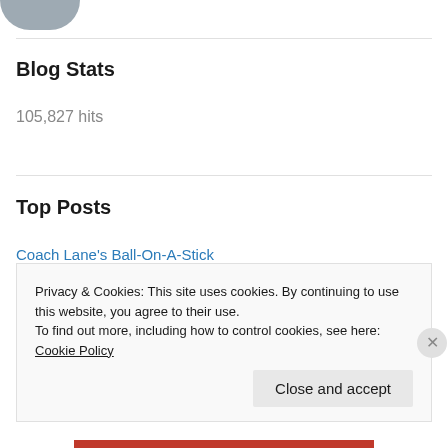[Figure (photo): Partial profile image at top left, circular, cropped]
Blog Stats
105,827 hits
Top Posts
Coach Lane's Ball-On-A-Stick
The End of the Era
Leaders
Compete-ly Lost
Privacy & Cookies: This site uses cookies. By continuing to use this website, you agree to their use.
To find out more, including how to control cookies, see here: Cookie Policy
Close and accept